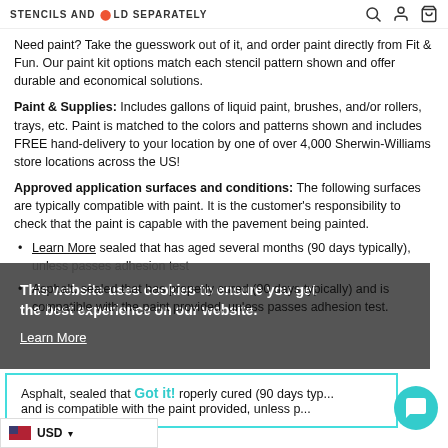STENCILS AND SOLD SEPARATELY
Need paint? Take the guesswork out of it, and order paint directly from Fit & Fun. Our paint kit options match each stencil pattern shown and offer durable and economical solutions.
Paint & Supplies: Includes gallons of liquid paint, brushes, and/or rollers, trays, etc. Paint is matched to the colors and patterns shown and includes FREE hand-delivery to your location by one of over 4,000 Sherwin-Williams store locations across the US!
Approved application surfaces and conditions: The following surfaces are typically compatible with paint. It is the customer's responsibility to check that the paint is capable with the pavement being painted.
Learn More sealed that has aged several months (90 days typically), unless passes adhesion test
Asphalt, sealed that has properly cured (90 days typically) and is compatible with the paint provided, unless passes adhesion test.